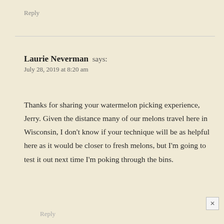Reply
Laurie Neverman says:
July 28, 2019 at 8:20 am
Thanks for sharing your watermelon picking experience, Jerry. Given the distance many of our melons travel here in Wisconsin, I don’t know if your technique will be as helpful here as it would be closer to fresh melons, but I’m going to test it out next time I’m poking through the bins.
Reply